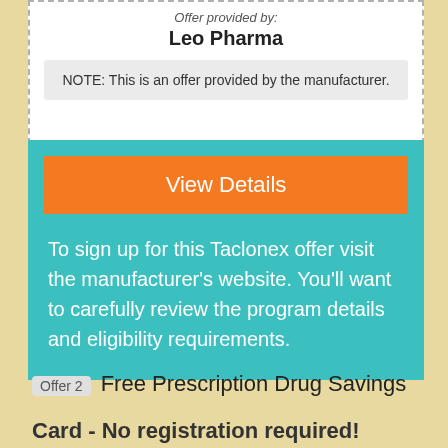Offer provided by:
Leo Pharma
NOTE: This is an offer provided by the manufacturer.
View Details
To sign up for this Taclonex offer visit the manufacturer's website. You'll want to carefully review the program details and eligibility requirements.
Offer 2 Free Prescription Drug Savings Card - No registration required!